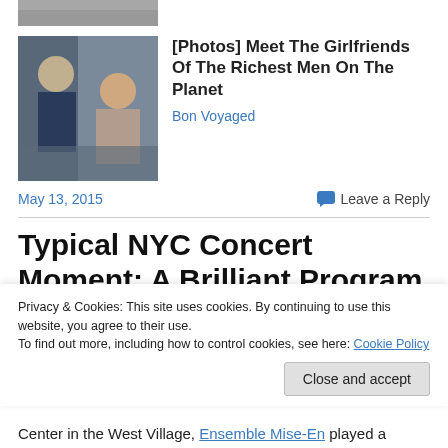[Figure (photo): Partial top image strip, cropped, showing two people outdoors]
[Figure (photo): Photo of a man and a young woman sitting together, both wearing sunglasses, man in dark suit]
[Photos] Meet The Girlfriends Of The Richest Men On The Planet
Bon Voyaged
May 13, 2015
Leave a Reply
Typical NYC Concert Moment: A Brilliant Program by Under
Privacy & Cookies: This site uses cookies. By continuing to use this website, you agree to their use.
To find out more, including how to control cookies, see here: Cookie Policy
Close and accept
Center in the West Village, Ensemble Mise-En played a